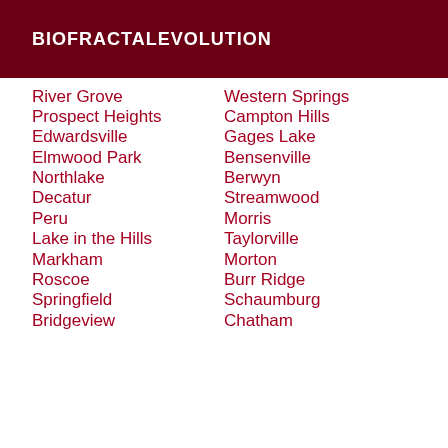BIOFRACTALEVOLUTION
River Grove
Western Springs
Prospect Heights
Campton Hills
Edwardsville
Gages Lake
Elmwood Park
Bensenville
Northlake
Berwyn
Decatur
Streamwood
Peru
Morris
Lake in the Hills
Taylorville
Markham
Morton
Roscoe
Burr Ridge
Springfield
Schaumburg
Bridgeview
Chatham